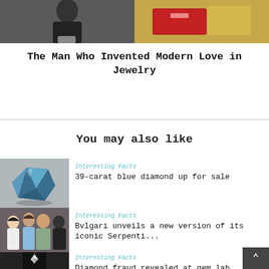[Figure (photo): Two images side by side: left shows a black and white photo of a man in a suit, right shows red and gold product boxes]
The Man Who Invented Modern Love in Jewelry
You may also like
[Figure (photo): Photo of a blue rough diamond gemstone on a gray surface]
Interesting Facts
39-carat blue diamond up for sale
[Figure (photo): Photo of a group of four people posing together]
Interesting Facts
Bvlgari unveils a new version of its iconic Serpenti...
[Figure (photo): Photo of a sparkling clear diamond on a dark background]
Interesting Facts
Diamond fraud revealed at gem lab